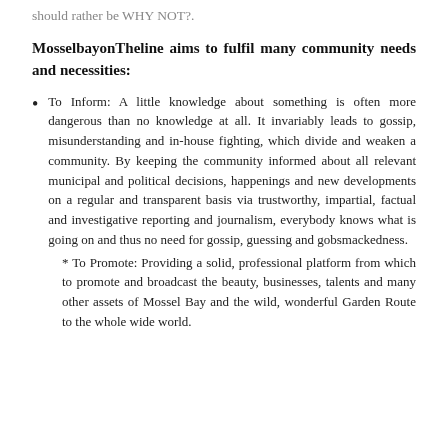should rather be WHY NOT?.
MosselbayonTheline aims to fulfil many community needs and necessities:
To Inform: A little knowledge about something is often more dangerous than no knowledge at all. It invariably leads to gossip, misunderstanding and in-house fighting, which divide and weaken a community. By keeping the community informed about all relevant municipal and political decisions, happenings and new developments on a regular and transparent basis via trustworthy, impartial, factual and investigative reporting and journalism, everybody knows what is going on and thus no need for gossip, guessing and gobsmackedness.
* To Promote: Providing a solid, professional platform from which to promote and broadcast the beauty, businesses, talents and many other assets of Mossel Bay and the wild, wonderful Garden Route to the whole wide world.